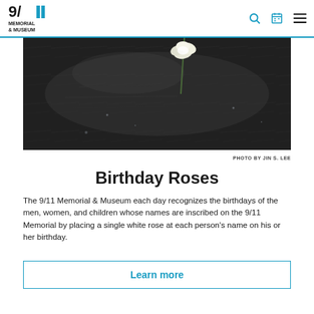9/11 Memorial & Museum
[Figure (photo): Close-up photograph of the 9/11 Memorial stone surface with names inscribed, with a single white rose placed at one of the names. The surface is wet and dark granite.]
PHOTO BY JIN S. LEE
Birthday Roses
The 9/11 Memorial & Museum each day recognizes the birthdays of the men, women, and children whose names are inscribed on the 9/11 Memorial by placing a single white rose at each person’s name on his or her birthday.
Learn more